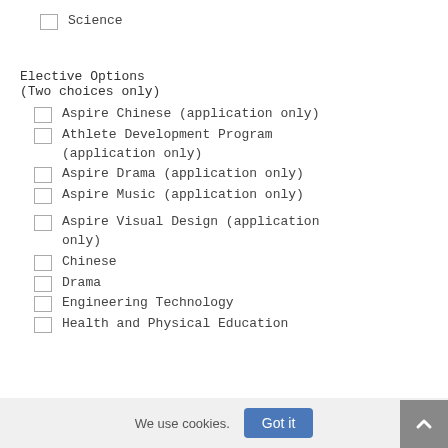Science
Elective Options
(Two choices only)
Aspire Chinese (application only)
Athlete Development Program (application only)
Aspire Drama (application only)
Aspire Music (application only)
Aspire Visual Design (application only)
Chinese
Drama
Engineering Technology
Health and Physical Education
We use cookies.
Got it